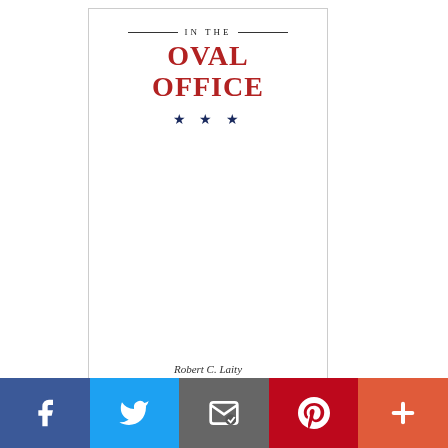[Figure (illustration): Book cover showing 'IN THE OVAL OFFICE' title in red bold letters, three blue stars, and author name 'Robert C. Laity' in italic, white background with border]
[Figure (logo): Sharon Rondeau's The Post & Email logo with photo of a woman in black clothing and blackletter/Old English style text]
[Figure (infographic): Social media sharing bar with Facebook, Twitter, Email, Pinterest, and More (+) buttons]